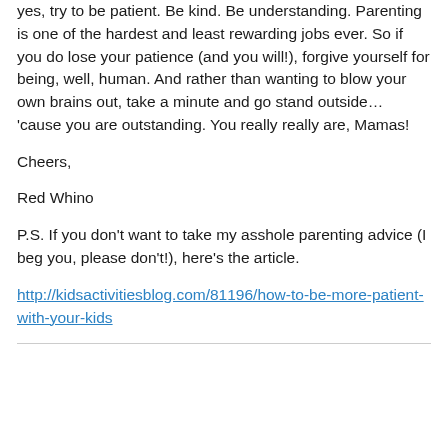yes, try to be patient. Be kind. Be understanding. Parenting is one of the hardest and least rewarding jobs ever. So if you do lose your patience (and you will!), forgive yourself for being, well, human. And rather than wanting to blow your own brains out, take a minute and go stand outside… 'cause you are outstanding. You really really are, Mamas!
Cheers,
Red Whino
P.S. If you don't want to take my asshole parenting advice (I beg you, please don't!), here's the article.
http://kidsactivitiesblog.com/81196/how-to-be-more-patient-with-your-kids